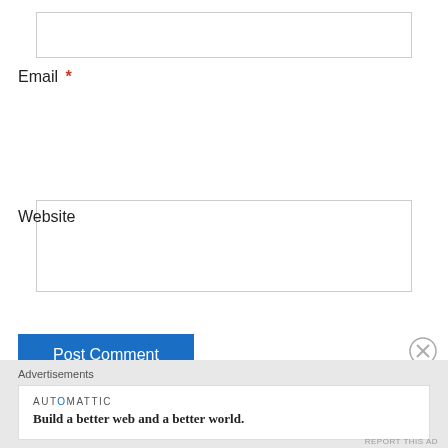[Figure (screenshot): Empty text input box at top of form]
Email *
[Figure (screenshot): Email input text box]
Website
[Figure (screenshot): Website input text box]
Post Comment
Notify me of new comments via email.
Advertisements
[Figure (screenshot): Automattic advertisement: Build a better web and a better world.]